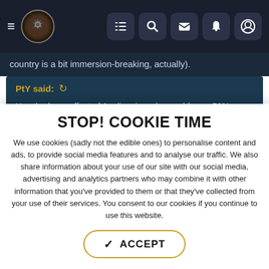Navigation bar with menu, logo, and icons
country is a bit immersion-breaking, actually).
PtY said: ↺

Has the base effect of Anglicanism changed from +50% innovativeness gain to -10% tech cost? If so, that's not just a buff but an overpowered one. Great Britain would go from having -5% tech cost to effectively having -15% tech cost starting in the 1500s. Innovativeness gain is a much better bonus because it's less powerful and because it caps at 100 innovativeness.
STOP! COOKIE TIME
We use cookies (sadly not the edible ones) to personalise content and ads, to provide social media features and to analyse our traffic. We also share information about your use of our site with our social media, advertising and analytics partners who may combine it with other information that you've provided to them or that they've collected from your use of their services. You consent to our cookies if you continue to use this website.
✓ ACCEPT